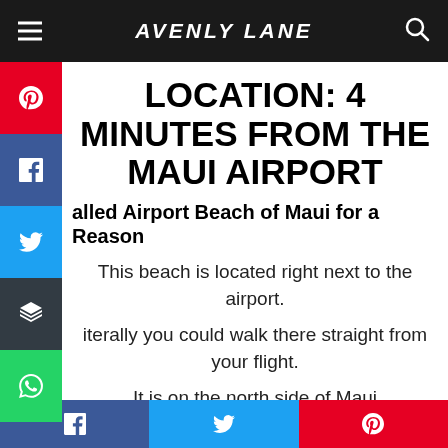AVENLY LANE
LOCATION: 4 MINUTES FROM THE MAUI AIRPORT
alled Airport Beach of Maui for a Reason
This beach is located right next to the airport.
iterally you could walk there straight from your flight.
It is on the north side of Maui